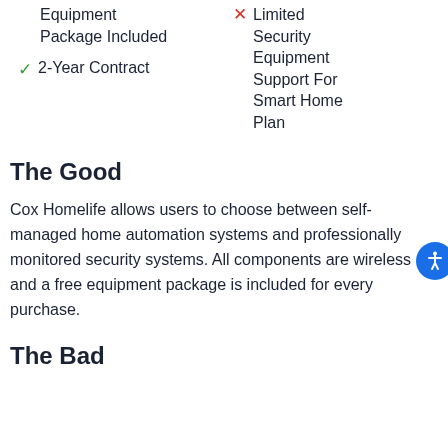Equipment Package Included
2-Year Contract
Limited Security Equipment Support For Smart Home Plan
The Good
Cox Homelife allows users to choose between self-managed home automation systems and professionally monitored security systems. All components are wireless and a free equipment package is included for every purchase.
The Bad